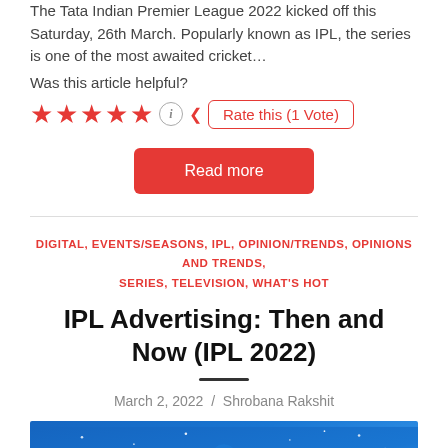The Tata Indian Premier League 2022 kicked off this Saturday, 26th March. Popularly known as IPL, the series is one of the most awaited cricket…
Was this article helpful?
[Figure (other): Five red star rating icons with an info icon and a 'Rate this (1 Vote)' button]
Read more
DIGITAL, EVENTS/SEASONS, IPL, OPINION/TRENDS, OPINIONS AND TRENDS, SERIES, TELEVISION, WHAT'S HOT
IPL Advertising: Then and Now (IPL 2022)
March 2, 2022 / Shrobana Rakshit
[Figure (illustration): Cricket player illustration on blue background with stars]